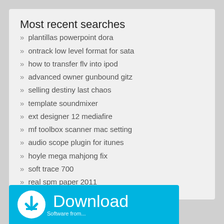Most recent searches
» plantillas powerpoint dora
» ontrack low level format for sata
» how to transfer flv into ipod
» advanced owner gunbound gitz
» selling destiny last chaos
» template soundmixer
» ext designer 12 mediafire
» mf toolbox scanner mac setting
» audio scope plugin for itunes
» hoyle mega mahjong fix
» soft trace 700
» real spm paper 2011
[Figure (infographic): Download banner with blue background, download icon and text 'Download']